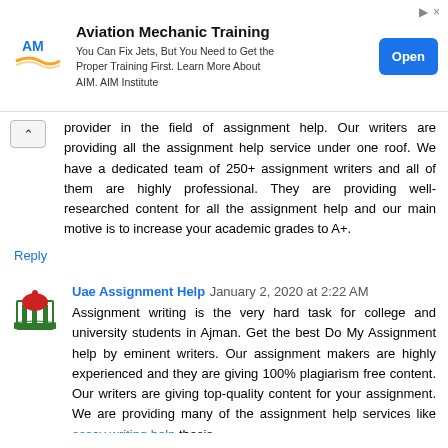[Figure (other): Advertisement banner for Aviation Mechanic Training by AIM Institute with logo, description text, and Open button]
provider in the field of assignment help. Our writers are providing all the assignment help service under one roof. We have a dedicated team of 250+ assignment writers and all of them are highly professional. They are providing well-researched content for all the assignment help and our main motive is to increase your academic grades to A+.
Reply
Uae Assignment Help  January 2, 2020 at 2:22 AM
Assignment writing is the very hard task for college and university students in Ajman. Get the best Do My Assignment help by eminent writers. Our assignment makers are highly experienced and they are giving 100% plagiarism free content. Our writers are giving top-quality content for your assignment. We are providing many of the assignment help services like essay writing help thesis